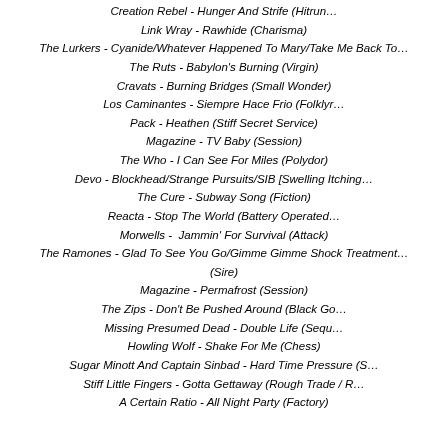Creation Rebel - Hunger And Strife (Hitrun…
Link Wray - Rawhide (Charisma)
The Lurkers - Cyanide/Whatever Happened To Mary/Take Me Back To…
The Ruts - Babylon's Burning (Virgin)
Cravats - Burning Bridges (Small Wonder)
Los Caminantes - Siempre Hace Frio (Folklyr…
Pack - Heathen (Stiff Secret Service)
Magazine - TV Baby (Session)
The Who - I Can See For Miles (Polydor)
Devo - Blockhead/Strange Pursuits/SIB [Swelling Itching…
The Cure - Subway Song (Fiction)
Reacta - Stop The World (Battery Operated…
Morwells -  Jammin' For Survival (Attack)
The Ramones - Glad To See You Go/Gimme Gimme Shock Treatment… (Sire)
Magazine - Permafrost (Session)
The Zips - Don't Be Pushed Around (Black Go…
Missing Presumed Dead - Double Life (Sequ…
Howling Wolf - Shake For Me (Chess)
Sugar Minott And Captain Sinbad - Hard Time Pressure (S…
Stiff Little Fingers - Gotta Gettaway (Rough Trade / R…
A Certain Ratio - All Night Party (Factory)